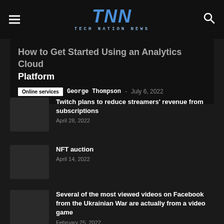TNN TECH NATION NEWS
How to Get Started Using an Analytics Cloud Platform
Online services  George Thompson - July 6, 2022
Twitch plans to reduce streamers' revenue from subscriptions
April 28, 2022
NFT auction
April 14, 2022
Several of the most viewed videos on Facebook from the Ukrainian War are actually from a video game
February 25, 2022
How to Avoid the Worst Online Scams in 2022